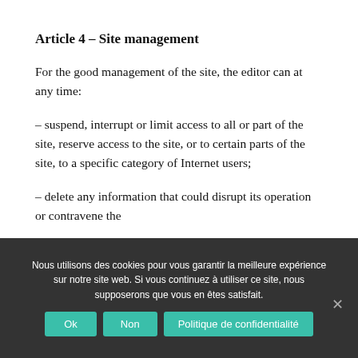Article 4 – Site management
For the good management of the site, the editor can at any time:
– suspend, interrupt or limit access to all or part of the site, reserve access to the site, or to certain parts of the site, to a specific category of Internet users;
– delete any information that could disrupt its operation or contravene the
Nous utilisons des cookies pour vous garantir la meilleure expérience sur notre site web. Si vous continuez à utiliser ce site, nous supposerons que vous en êtes satisfait.
Ok  Non  Politique de confidentialité